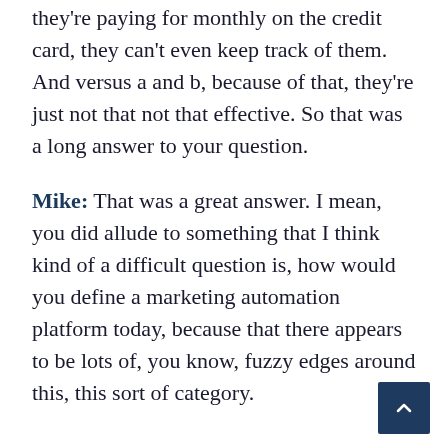too many different SaaS platforms that they're paying for monthly on the credit card, they can't even keep track of them. And versus a and b, because of that, they're just not that not that effective. So that was a long answer to your question.
Mike: That was a great answer. I mean, you did allude to something that I think kind of a difficult question is, how would you define a marketing automation platform today, because that there appears to be lots of, you know, fuzzy edges around this, this sort of category.